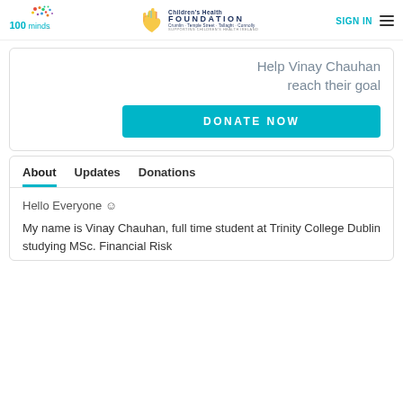100minds | Children's Health Foundation | SIGN IN
Help Vinay Chauhan reach their goal
DONATE NOW
About   Updates   Donations
Hello Everyone ☺
My name is Vinay Chauhan, full time student at Trinity College Dublin studying MSc. Financial Risk Management. 100minds is a platform that...